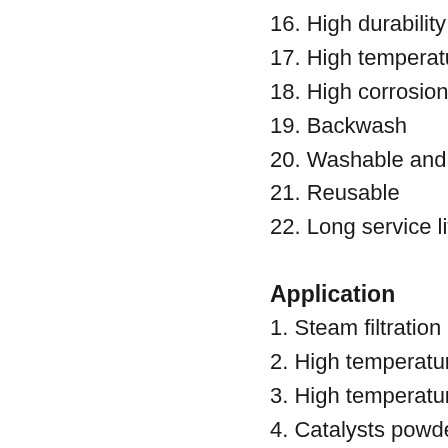16. High durability aga…
17. High temperature r…
18. High corrosion resi…
19. Backwash
20. Washable and Cle…
21. Reusable
22. Long service life
Application
1. Steam filtration
2. High temperature li…
3. High temperature ga…
4. Catalysts powders r…
5. Precoat support filtr…